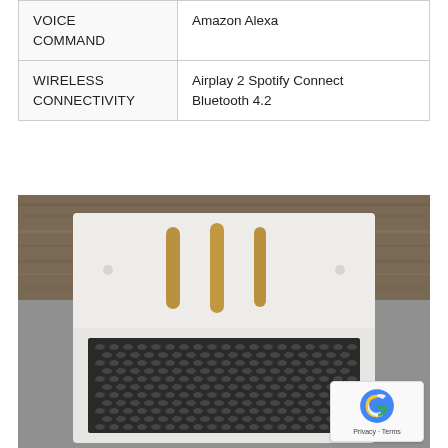|  |  |
| --- | --- |
| VOICE COMMAND | Amazon Alexa |
| WIRELESS CONNECTIVITY | Airplay 2 Spotify Connect
Bluetooth 4.2 |
[Figure (photo): Top-down and front view of a white cube-shaped smart speaker with gold/bronze vertical grille slots on top and a woven mesh speaker grille on the front, placed on a gray surface with a wooden background.]